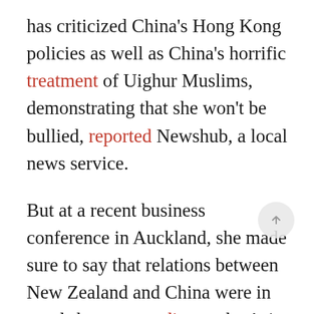has criticized China's Hong Kong policies as well as China's horrific treatment of Uighur Muslims, demonstrating that she won't be bullied, reported Newshub, a local news service.
But at a recent business conference in Auckland, she made sure to say that relations between New Zealand and China were in good shape, according to the Asia Media Center. She rattled off statistics that show how she can't alienate her...